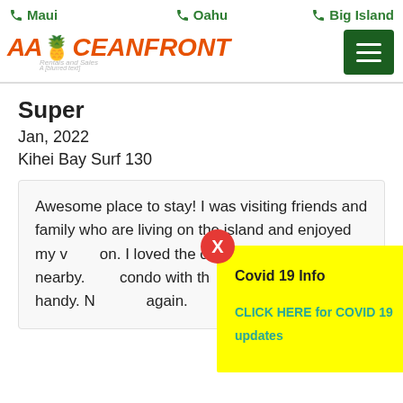Maui | Oahu | Big Island
[Figure (logo): AA Oceanfront Rentals and Sales logo with pineapple icon]
Super
Jan, 2022
Kihei Bay Surf 130
Awesome place to stay! I was visiting friends and family who are living on the island and enjoyed my v[...] on. I loved the condo and the park nearby. [...] condo with th[...] was handy. N[...] again.
[Figure (screenshot): Covid 19 Info popup overlay with yellow background showing: Covid 19 Info header and CLICK HERE for COVID 19 updates link, with red X close button]